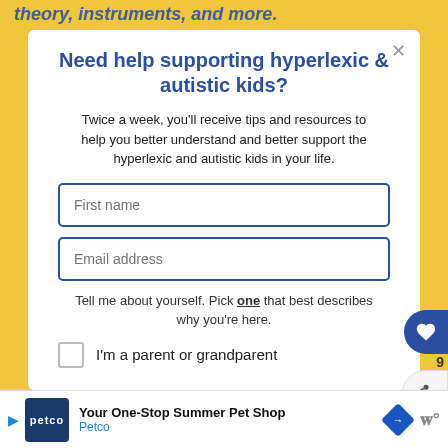theory, instruments, and more.
Need help supporting hyperlexic & autistic kids?
Twice a week, you'll receive tips and resources to help you better understand and better support the hyperlexic and autistic kids in your life.
First name
Email address
Tell me about yourself. Pick one that best describes why you're here.
I'm a parent or grandparent
Your One-Stop Summer Pet Shop Petco